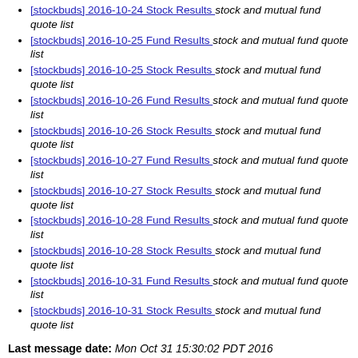[stockbuds] 2016-10-24 Stock Results  stock and mutual fund quote list
[stockbuds] 2016-10-25 Fund Results  stock and mutual fund quote list
[stockbuds] 2016-10-25 Stock Results  stock and mutual fund quote list
[stockbuds] 2016-10-26 Fund Results  stock and mutual fund quote list
[stockbuds] 2016-10-26 Stock Results  stock and mutual fund quote list
[stockbuds] 2016-10-27 Fund Results  stock and mutual fund quote list
[stockbuds] 2016-10-27 Stock Results  stock and mutual fund quote list
[stockbuds] 2016-10-28 Fund Results  stock and mutual fund quote list
[stockbuds] 2016-10-28 Stock Results  stock and mutual fund quote list
[stockbuds] 2016-10-31 Fund Results  stock and mutual fund quote list
[stockbuds] 2016-10-31 Stock Results  stock and mutual fund quote list
Last message date: Mon Oct 31 15:30:02 PDT 2016
Archived on: Mon Oct 31 15:30:03 PDT 2016